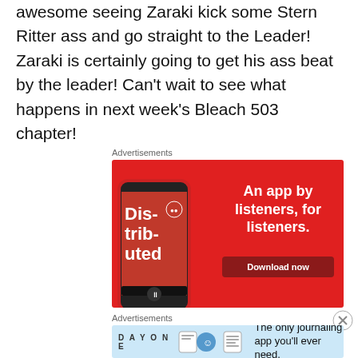awesome seeing Zaraki kick some Stern Ritter ass and go straight to the Leader! Zaraki is certainly going to get his ass beat by the leader! Can’t wait to see what happens in next week’s Bleach 503 chapter!
Advertisements
[Figure (screenshot): Red advertisement banner for a podcast app showing a smartphone with 'Distributed' podcast, text 'An app by listeners, for listeners.' and a 'Download now' button]
[Figure (screenshot): Light blue advertisement banner for Day One journaling app with icons and text 'The only journaling app you’ll ever need.']
Advertisements